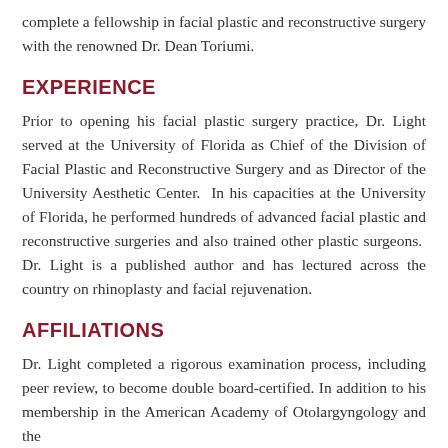complete a fellowship in facial plastic and reconstructive surgery with the renowned Dr. Dean Toriumi.
EXPERIENCE
Prior to opening his facial plastic surgery practice, Dr. Light served at the University of Florida as Chief of the Division of Facial Plastic and Reconstructive Surgery and as Director of the University Aesthetic Center.  In his capacities at the University of Florida, he performed hundreds of advanced facial plastic and reconstructive surgeries and also trained other plastic surgeons.  Dr. Light is a published author and has lectured across the country on rhinoplasty and facial rejuvenation.
AFFILIATIONS
Dr. Light completed a rigorous examination process, including peer review, to become double board-certified. In addition to his membership in the American Academy of Otolargyngology and the